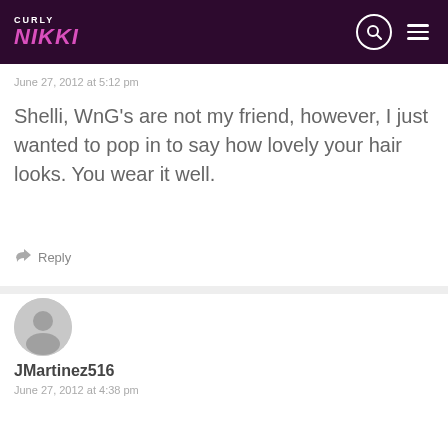Curly Nikki
June 27, 2012 at 5:12 pm
Shelli, WnG's are not my friend, however, I just wanted to pop in to say how lovely your hair looks. You wear it well.
Reply
[Figure (illustration): User avatar placeholder icon for JMartinez516]
JMartinez516
June 27, 2012 at 4:38 pm